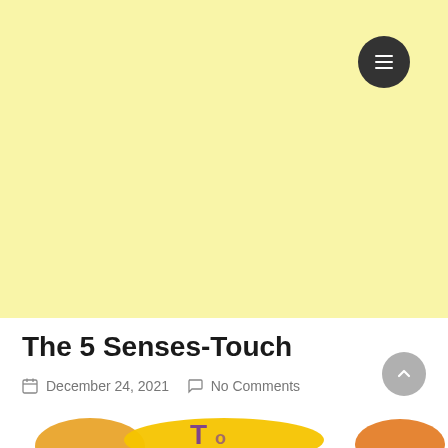[Figure (illustration): Large yellow/cream banner area at top of webpage, with a dark circular hamburger menu button in upper right corner]
The 5 Senses-Touch
December 24, 2021   No Comments
[Figure (illustration): Bottom portion of a colorful educational illustration showing the 5 senses with cartoon hands and text on yellow background, partially visible]